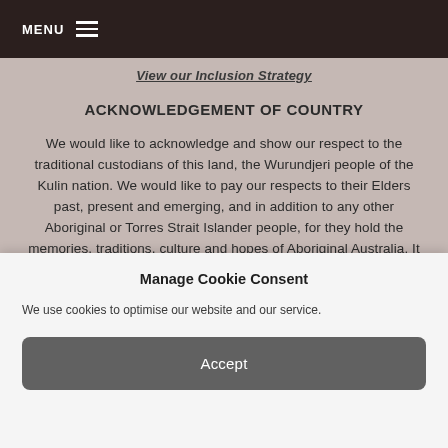MENU ☰
View our Inclusion Strategy
ACKNOWLEDGEMENT OF COUNTRY
We would like to acknowledge and show our respect to the traditional custodians of this land, the Wurundjeri people of the Kulin nation. We would like to pay our respects to their Elders past, present and emerging, and in addition to any other Aboriginal or Torres Strait Islander people, for they hold the memories, traditions, culture and hopes of Aboriginal Australia. It is on their land that Ivanhoe Grammar School was built and as we share our knowledge, teaching and learning with the School community,
Manage Cookie Consent
We use cookies to optimise our website and our service.
Accept